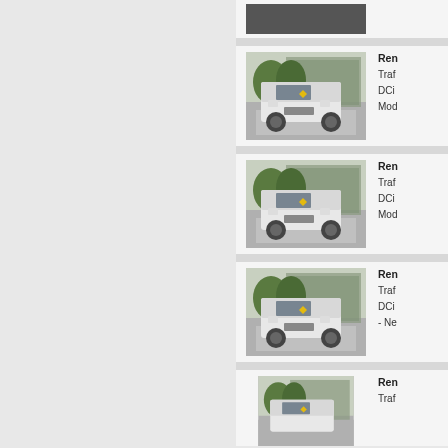[Figure (photo): Partial vehicle listing row at top - cropped Renault Trafic van image]
Ren... Traf... DCi... Mod...
[Figure (photo): Renault Trafic van front view on road with trees in background]
Ren... Traf... DCi... Mod...
[Figure (photo): Renault Trafic van front view on road with trees in background]
Ren... Traf... DCi... Mod...
[Figure (photo): Renault Trafic van front view on road with trees in background]
Ren... Traf... DCi... - Ne...
[Figure (photo): Renault Trafic van front view on road - partial at bottom]
Ren... Traf...